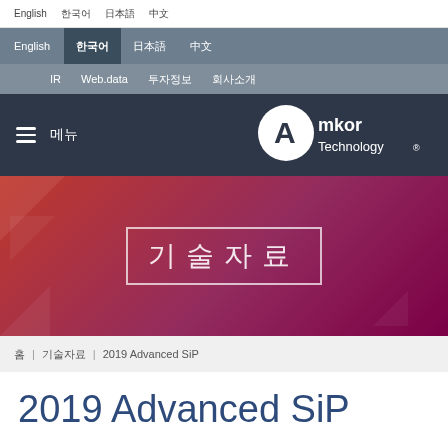English | 한국어 | 日本語 | 中文
IR | Web.data | 투자정보 | 회사소개
≡ 메뉴 | Amkor Technology®
[Figure (logo): Amkor Technology logo — white circle with stylized 'A', text 'Amkor Technology®' in white]
기술자료
홈 | 기술자료 | 2019 Advanced SiP
2019 Advanced SiP